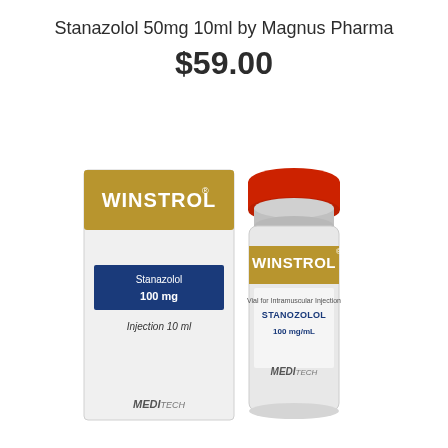Stanazolol 50mg 10ml by Magnus Pharma
$59.00
[Figure (photo): Product photo showing a white box and a glass vial of Winstrol (Stanazolol 100mg Injection 10ml) by Meditech. The box has a gold band with 'WINSTROL' in white text, a blue label showing 'Stanazolol 100 mg', and 'Injection 10 ml' text, with the Meditech logo at the bottom. The vial has a red cap, silver crimp seal, and a label with the Winstrol gold branding, 'Stanozolol 100 mg/mL' and the Meditech logo.]